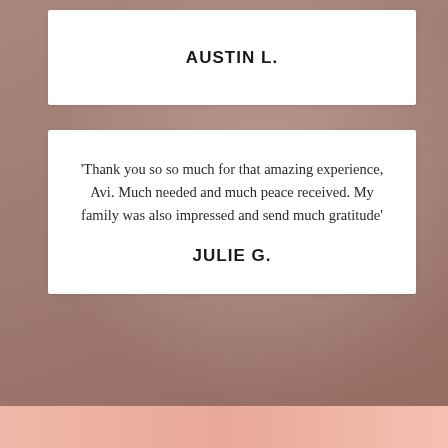AUSTIN L.
'Thank you so so much for that amazing experience, Avi. Much needed and much peace received. My family was also impressed and send much gratitude'
JULIE G.
'So relaxing - the sound bath was such a good way to meditate. Will be back!'
CLASSPASS ATTENDEE